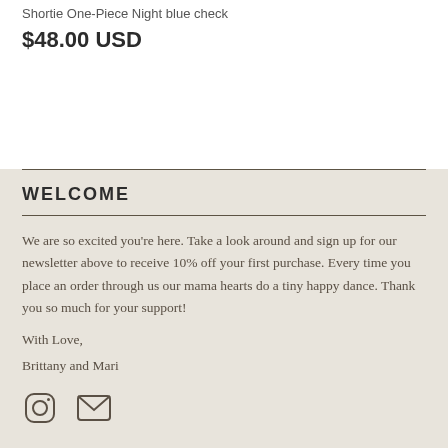Shortie One-Piece Night blue check
$48.00 USD
WELCOME
We are so excited you're here. Take a look around and sign up for our newsletter above to receive 10% off your first purchase. Every time you place an order through us our mama hearts do a tiny happy dance. Thank you so much for your support!
With Love,
Brittany and Mari
[Figure (illustration): Instagram icon (circle with camera outline) and email icon (envelope outline)]